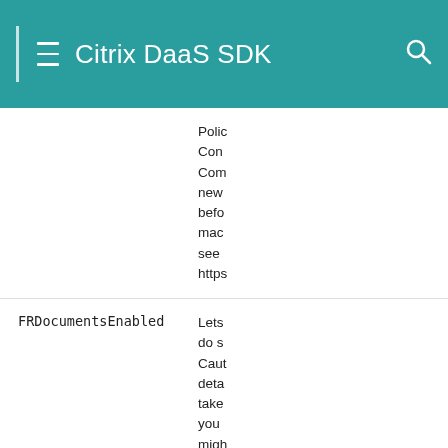Citrix DaaS SDK
PolicyCont Com new bef mac see https
FRDocumentsEnabled
Lets do s Caut deta take you migh loca spe to p